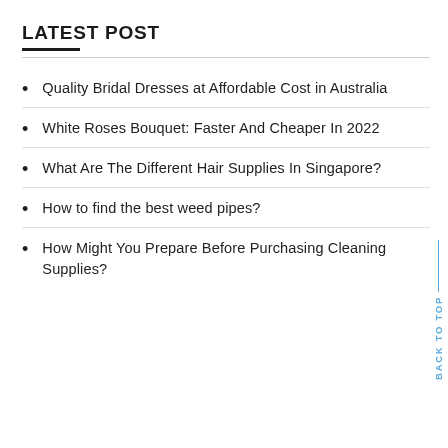LATEST POST
Quality Bridal Dresses at Affordable Cost in Australia
White Roses Bouquet: Faster And Cheaper In 2022
What Are The Different Hair Supplies In Singapore?
How to find the best weed pipes?
How Might You Prepare Before Purchasing Cleaning Supplies?